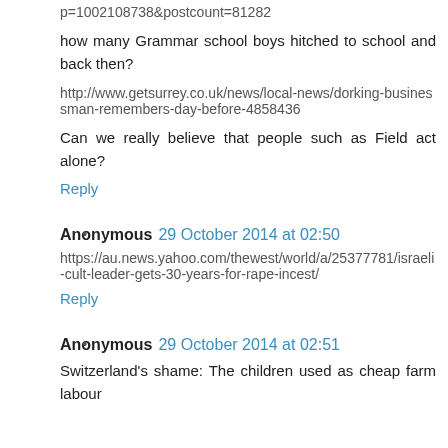p=1002108738&postcount=81282
how many Grammar school boys hitched to school and back then?
http://www.getsurrey.co.uk/news/local-news/dorking-businessman-remembers-day-before-4858436
Can we really believe that people such as Field act alone?
Reply
Anonymous 29 October 2014 at 02:50
https://au.news.yahoo.com/thewest/world/a/25377781/israeli-cult-leader-gets-30-years-for-rape-incest/
Reply
Anonymous 29 October 2014 at 02:51
Switzerland's shame: The children used as cheap farm labour